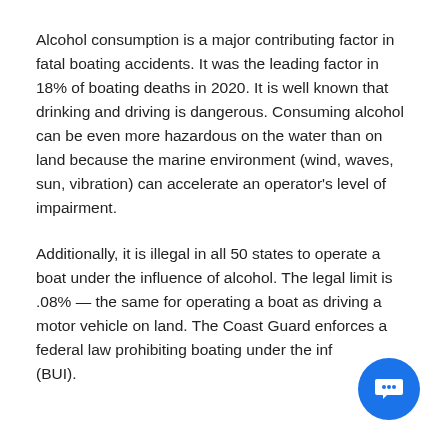Alcohol consumption is a major contributing factor in fatal boating accidents. It was the leading factor in 18% of boating deaths in 2020. It is well known that drinking and driving is dangerous. Consuming alcohol can be even more hazardous on the water than on land because the marine environment (wind, waves, sun, vibration) can accelerate an operator's level of impairment.
Additionally, it is illegal in all 50 states to operate a boat under the influence of alcohol. The legal limit is .08% — the same for operating a boat as driving a motor vehicle on land. The Coast Guard enforces a federal law prohibiting boating under the influence (BUI).